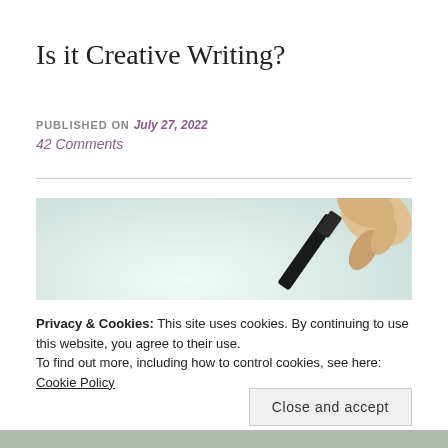Is it Creative Writing?
PUBLISHED ON July 27, 2022
42 Comments
[Figure (photo): Close-up photo of a hand holding a pen or marker writing on white paper, viewed from above with shallow depth of field.]
Privacy & Cookies: This site uses cookies. By continuing to use this website, you agree to their use.
To find out more, including how to control cookies, see here:
Cookie Policy
Close and accept